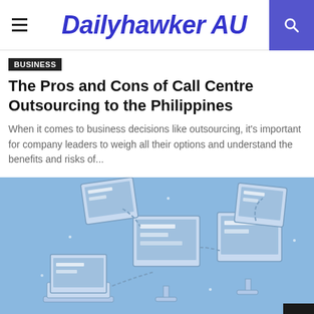Dailyhawker AU
Business
The Pros and Cons of Call Centre Outsourcing to the Philippines
When it comes to business decisions like outsourcing, it's important for company leaders to weigh all their options and understand the benefits and risks of...
[Figure (illustration): Isometric illustration of multiple computer monitors, laptops, and tablet devices connected by chains on a light blue background, representing networked or outsourced technology infrastructure.]